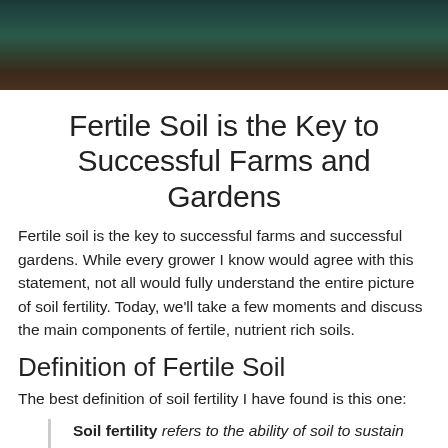[Figure (photo): Dark photograph banner at top of page, showing a dark teal/green and brown scene, likely a farm or garden setting.]
Fertile Soil is the Key to Successful Farms and Gardens
Fertile soil is the key to successful farms and successful gardens. While every grower I know would agree with this statement, not all would fully understand the entire picture of soil fertility. Today, we'll take a few moments and discuss the main components of fertile, nutrient rich soils.
Definition of Fertile Soil
The best definition of soil fertility I have found is this one:
Soil fertility refers to the ability of soil to sustain agricultural plant growth, i.e. to provide